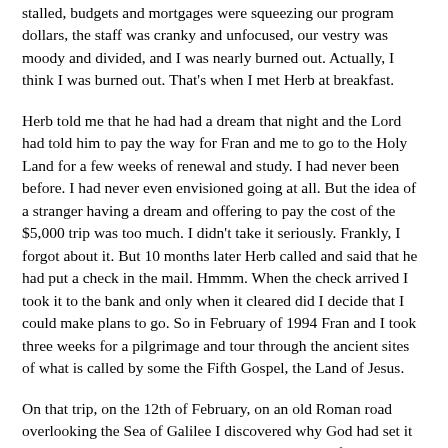stalled, budgets and mortgages were squeezing our program dollars, the staff was cranky and unfocused, our vestry was moody and divided, and I was nearly burned out. Actually, I think I was burned out. That’s when I met Herb at breakfast.
Herb told me that he had had a dream that night and the Lord had told him to pay the way for Fran and me to go to the Holy Land for a few weeks of renewal and study. I had never been before. I had never even envisioned going at all. But the idea of a stranger having a dream and offering to pay the cost of the $5,000 trip was too much. I didn’t take it seriously. Frankly, I forgot about it. But 10 months later Herb called and said that he had put a check in the mail. Hmmm. When the check arrived I took it to the bank and only when it cleared did I decide that I could make plans to go. So in February of 1994 Fran and I took three weeks for a pilgrimage and tour through the ancient sites of what is called by some the Fifth Gospel, the Land of Jesus.
On that trip, on the 12th of February, on an old Roman road overlooking the Sea of Galilee I discovered why God had set it upon Herb’s heart to send us to the Holy Land. Half way down the road from the Mount of Beatitudes our small group paused for a brief prayer service. I looked for a place to sit down. Without really realizing it, I sat down on a small four-foot stone mount. I stared out at the sea, then something happened the Golan Heights